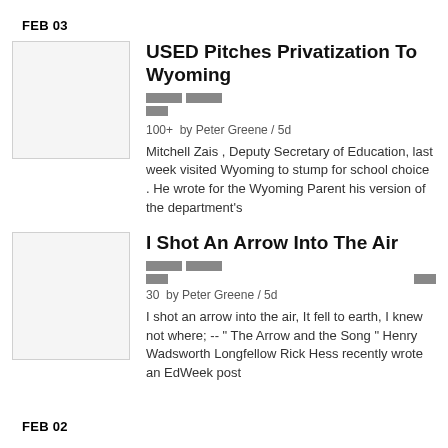FEB 03
USED Pitches Privatization To Wyoming
100+  by Peter Greene / 5d
Mitchell Zais , Deputy Secretary of Education, last week visited Wyoming to stump for school choice . He wrote for the Wyoming Parent his version of the department's
I Shot An Arrow Into The Air
30  by Peter Greene / 5d
I shot an arrow into the air, It fell to earth, I knew not where; -- " The Arrow and the Song " Henry Wadsworth Longfellow Rick Hess recently wrote an EdWeek post
FEB 02